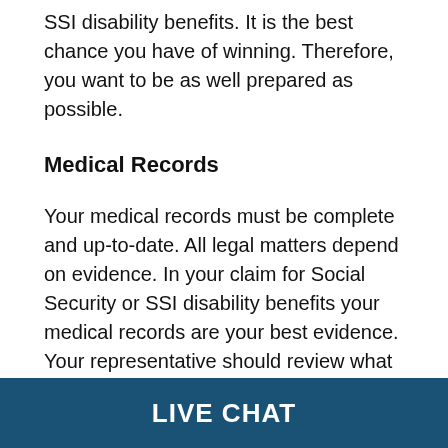SSI disability benefits. It is the best chance you have of winning. Therefore, you want to be as well prepared as possible.
Medical Records
Your medical records must be complete and up-to-date. All legal matters depend on evidence. In your claim for Social Security or SSI disability benefits your medical records are your best evidence. Your representative should review what records SSA has on file already, discuss this with you to make sure that no important records are missing, and then, send for any that are missing.
LIVE CHAT